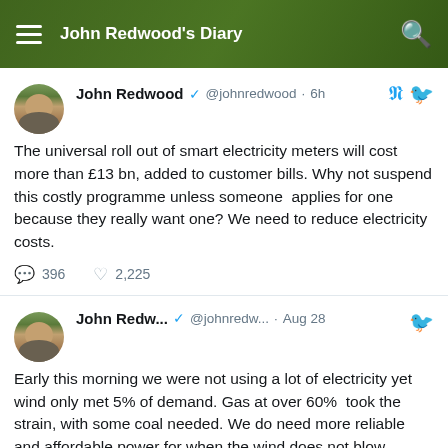John Redwood's Diary
John Redwood @johnredwood · 6h — The universal roll out of smart electricity meters will cost more than £13 bn, added to customer bills. Why not suspend this costly programme unless someone applies for one because they really want one? We need to reduce electricity costs. — 396 replies, 2,225 likes
John Redw... @johnredw... · Aug 28 — Early this morning we were not using a lot of electricity yet wind only met 5% of demand. Gas at over 60% took the strain, with some coal needed. We do need more reliable and affordable power for when the wind does not blow. — 1,771 replies, 3,586 likes